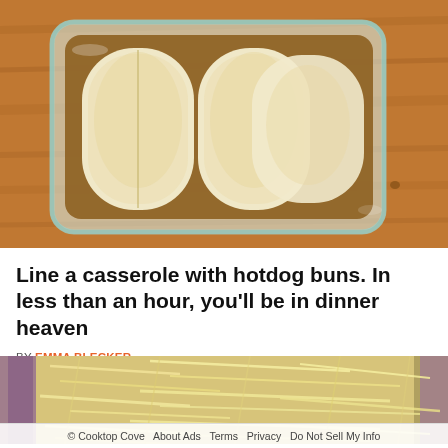[Figure (photo): Overhead view of a glass casserole dish lined with hotdog buns arranged in two rows, sitting on a wooden cutting board surface.]
Line a casserole with hotdog buns. In less than an hour, you'll be in dinner heaven
BY EMMA BLECKER
[Figure (photo): Close-up overhead view of shredded cheese covering what appears to be a casserole dish with purple/onion elements visible at the edges.]
© Cooktop Cove   About Ads   Terms   Privacy   Do Not Sell My Info